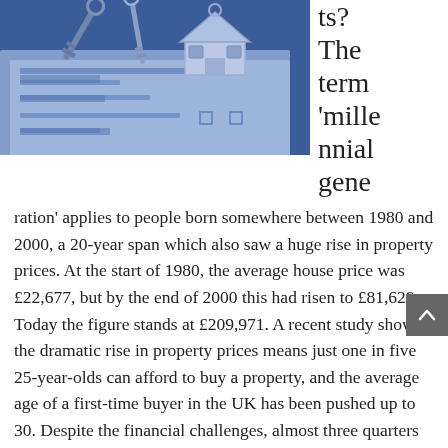[Figure (photo): A blue-tinted photo showing house keys with a house-shaped keyring resting on a mortgage application form]
ts? The term 'millennial gene
ration' applies to people born somewhere between 1980 and 2000, a 20-year span which also saw a huge rise in property prices. At the start of 1980, the average house price was £22,677, but by the end of 2000 this had risen to £81,628. Today the figure stands at £209,971. A recent study shows the dramatic rise in property prices means just one in five 25-year-olds can afford to buy a property, and the average age of a first-time buyer in the UK has been pushed up to 30. Despite the financial challenges, almost three quarters of UK millennials intend to buy their first home in the